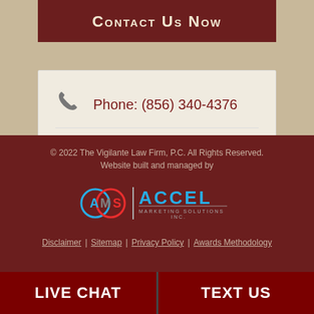Contact Us Now
Phone: (856) 340-4376
Fax: (856) 494-1400
© 2022 The Vigilante Law Firm, P.C. All Rights Reserved. Website built and managed by
[Figure (logo): AMS Accel Marketing Solutions Inc. logo with circular AMS emblem and ACCEL text]
Disclaimer | Sitemap | Privacy Policy | Awards Methodology
LIVE CHAT
TEXT US